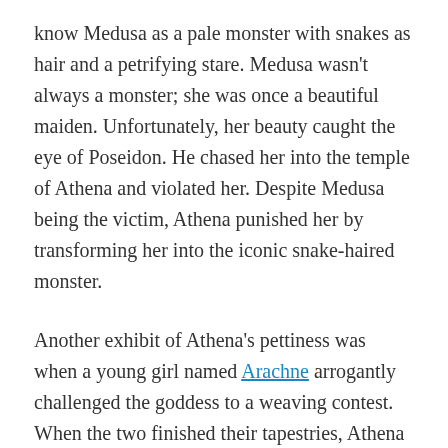know Medusa as a pale monster with snakes as hair and a petrifying stare. Medusa wasn't always a monster; she was once a beautiful maiden. Unfortunately, her beauty caught the eye of Poseidon. He chased her into the temple of Athena and violated her. Despite Medusa being the victim, Athena punished her by transforming her into the iconic snake-haired monster.
Another exhibit of Athena's pettiness was when a young girl named Arachne arrogantly challenged the goddess to a weaving contest. When the two finished their tapestries, Athena inspected the girl's, and it was flawless. Jealous of the girl's prowess and angry that her tapestry depicted the misdeeds of the gods, Athena ripped it apart. The girl, in her despair, tried to hang herself, but Athena would not let her die and loosened her noose. Athena then transformed the girl into a spider, and she wove her web in this form